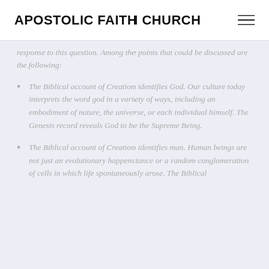APOSTOLIC FAITH CHURCH
response to this question. Among the points that could be discussed are the following:
The Biblical account of Creation identifies God. Our culture today interprets the word god in a variety of ways, including an embodiment of nature, the universe, or each individual himself. The Genesis record reveals God to be the Supreme Being.
The Biblical account of Creation identifies man. Human beings are not just an evolutionary happenstance or a random conglomeration of cells in which life spontaneously arose. The Biblical